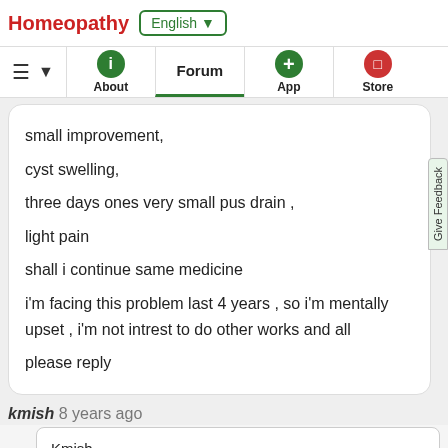Homeopathy | English ▼ | About | Forum | App | Store
small improvement,

cyst swelling,

three days ones very small pus drain ,

light pain

shall i continue same medicine

i'm facing this problem last 4 years , so i'm mentally upset , i'm not intrest to do other works and all

please reply
kmish 8 years ago
Kmish
Pl take
1. one dose of 6 pills of Penicilin-1m (only one